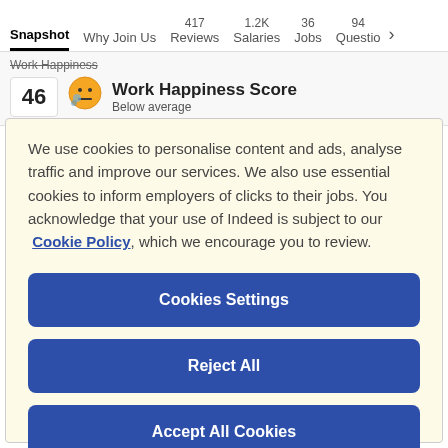Snapshot  Why Join Us  417 Reviews  1.2K Salaries  36 Jobs  94 Questions >
Work Happiness Score – Below average – Score: 46
We use cookies to personalise content and ads, analyse traffic and improve our services. We also use essential cookies to inform employers of clicks to their jobs. You acknowledge that your use of Indeed is subject to our Cookie Policy, which we encourage you to review.
Cookies Settings
Reject All
Accept All Cookies